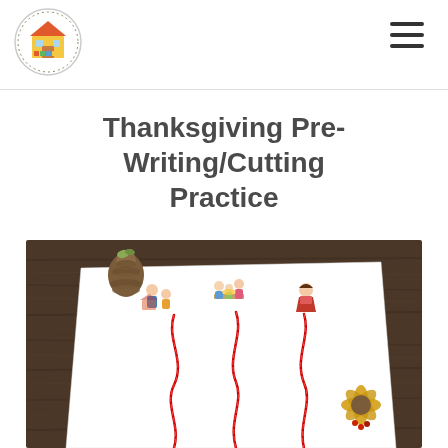Thanksgiving Pre-Writing/Cutting Practice
[Figure (photo): A photograph showing a Thanksgiving pre-writing/cutting practice worksheet on a white paper placed on a dark wood table. The worksheet features three illustrated cartoon family groups at the top with red wavy/zigzag lines running vertically downward from each figure group. A pine cone and a small yellow dried flower are placed on the wooden table around the paper.]